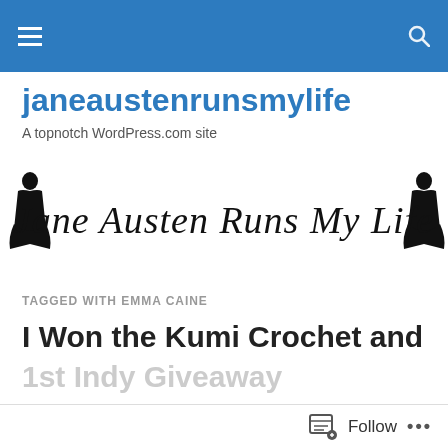janeaustenrunsmylife — navigation bar with hamburger menu and search icon
janeaustenrunsmylife
A topnotch WordPress.com site
[Figure (illustration): Cursive script logo reading 'Jane Austen Runs My Life' with Jane Austen silhouette figures on each side]
TAGGED WITH EMMA CAINE
I Won the Kumi Crochet and
Follow ...